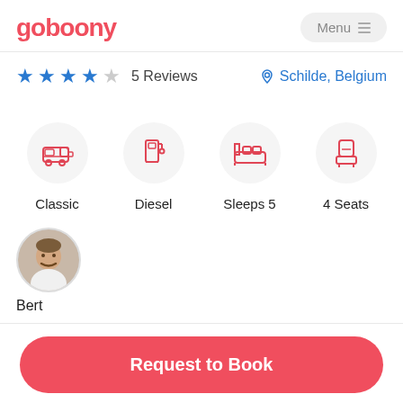goboony  Menu
★★★★☆ 5 Reviews   📍 Schilde, Belgium
[Figure (infographic): Four feature icons in circular grey backgrounds: Classic (camper van), Diesel (fuel pump), Sleeps 5 (bed), 4 Seats (seat). Below: owner avatar photo labeled Bert.]
[Figure (photo): Circular avatar photo of Bert, a man with a moustache.]
Bert
Request to Book
From €79 per day